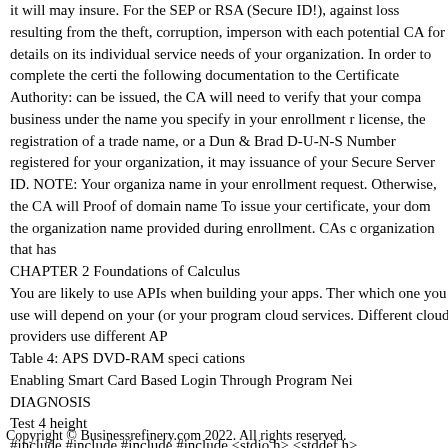it will may insure. For the SEP or RSA (Secure ID!), against loss resulting from the theft, corruption, impersonation with each potential CA for details on its individual service needs of your organization. In order to complete the certification the following documentation to the Certificate Authority: can be issued, the CA will need to verify that your company business under the name you specify in your enrollment request license, the registration of a trade name, or a Dun & Bradstreet D-U-N-S Number registered for your organization, it may issuance of your Secure Server ID. NOTE: Your organization name in your enrollment request. Otherwise, the CA will Proof of domain name To issue your certificate, your domain the organization name provided during enrollment. CAs organization that has
CHAPTER 2 Foundations of Calculus
You are likely to use APIs when building your apps. There which one you use will depend on your (or your programmer's) cloud services. Different cloud providers use different APIs.
Table 4: APS DVD-RAM speci cations
Enabling Smart Card Based Login Through Program Neighborhood
DIAGNOSIS
Test 4 height
#include #include #include #include <stdio.h> <stddef.h>
Build Your Own Elec tric Car
Copyright © Businessrefinery.com 2022. All rights reserved.